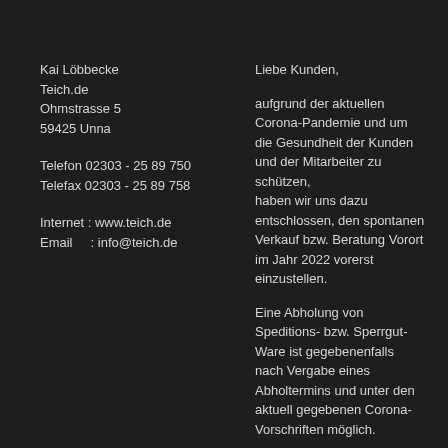Kai Löbbecke
Teich.de
Ohmstrasse 5
59425 Unna
Telefon 02303 - 25 89 750
Telefax 02303 - 25 89 758
Internet : www.teich.de
Email     : info@teich.de
Liebe Kunden,
aufgrund der aktuellen Corona-Pandemie und um die Gesundheit der Kunden und der Mitarbeiter zu schützen, haben wir uns dazu entschlossen, den spontanen Verkauf bzw. Beratung Vorort im Jahr 2022 vorerst einzustellen.
Eine Abholung von Speditions- bzw. Sperrgut-Ware ist gegebenenfalls nach Vergabe eines Abholtermins und unter den aktuell gegebenen Corona-Vorschriften möglich.
Falls Sie uns telefonisch nicht erreichen, schreiben Sie uns bitte eine Email an